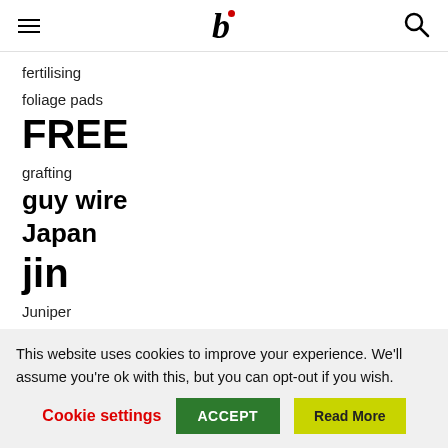b [logo with red dot]
fertilising
foliage pads
FREE
grafting
guy wire
Japan
jin
Juniper
Juniperus
nehari
This website uses cookies to improve your experience. We'll assume you're ok with this, but you can opt-out if you wish.